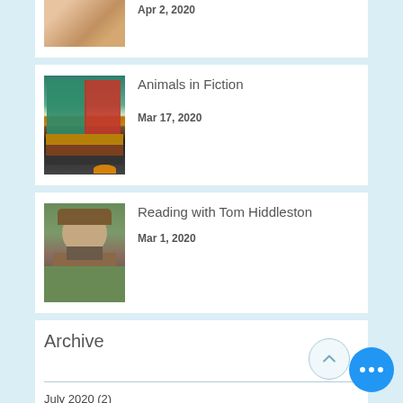[Figure (photo): Partial photo at top, cut off, showing people at what appears to be a bookshop event]
Apr 2, 2020
[Figure (photo): Stack of books including titles about animals and nature with a small animal figurine]
Animals in Fiction
Mar 17, 2020
[Figure (photo): Man in a brown coat and hat, resembling Tom Hiddleston, standing outdoors]
Reading with Tom Hiddleston
Mar 1, 2020
Archive
July 2020 (2)
June 2020 (1)
May 2020 (2)